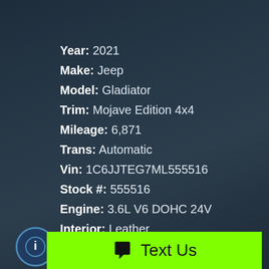Year: 2021
Make: Jeep
Model: Gladiator
Trim: Mojave Edition 4x4
Mileage: 6,871
Trans: Automatic
Vin: 1C6JJTEG7ML555516
Stock #: 555516
Engine: 3.6L V6 DOHC 24V
Interior: Leather
Interior Color: Black
Color: Blue
Drive Train: 4WD
Text Us